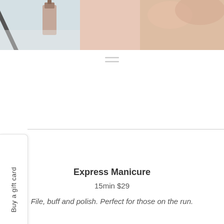[Figure (photo): Photo of manicure tools and nail polish on a light surface with a hand visible]
[Figure (other): Hamburger menu icon with two horizontal lines]
Buy a gift card
Express Manicure
15min $29
File, buff and polish. Perfect for those on the run.